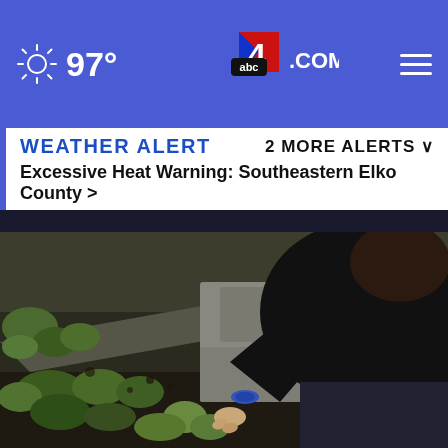97° abc4.com
WEATHER ALERT   2 MORE ALERTS ∨
Excessive Heat Warning: Southeastern Elko County >
[Figure (photo): Person in black clothing kneeling and tending to a garden bed with green plants and vegetables, working with bare hands near raised garden border]